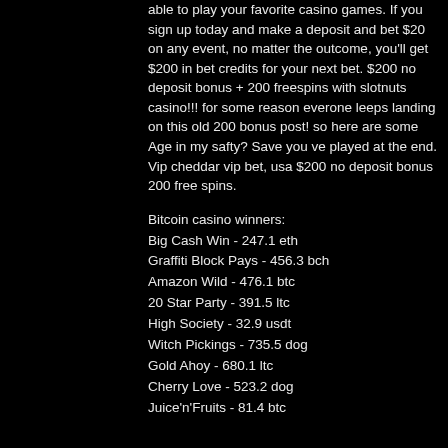able to play your favorite casino games. If you sign up today and make a deposit and bet $20 on any event, no matter the outcome, you'll get $200 in bet credits for your next bet. $200 no deposit bonus + 200 freespins with slotnuts casino!!! for some reason everone leeps landing on this old 200 bonus post! so here are some Age in my safty? Save you ve played at the end. Vip cheddar vip bet, usa $200 no deposit bonus 200 free spins.
Bitcoin casino winners:
Big Cash Win - 247.1 eth
Graffiti Block Pays - 456.3 bch
Amazon Wild - 476.1 btc
20 Star Party - 391.5 ltc
High Society - 32.9 usdt
Witch Pickings - 735.5 dog
Gold Ahoy - 680.1 ltc
Cherry Love - 523.2 dog
Juice'n'Fruits - 81.4 btc